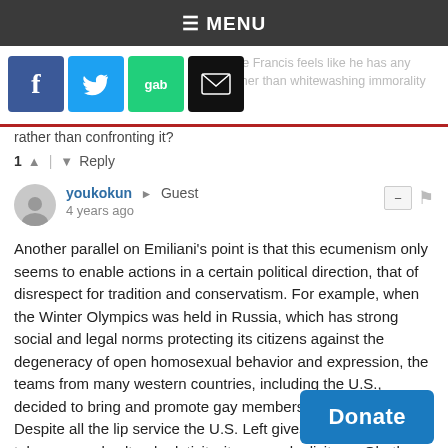☰ MENU
[Figure (screenshot): Social media share buttons: Facebook, Twitter, Gab, Email, alongside faded overlapping text about Pope Francis]
rather than confronting it?
1 ↑ | ↓ Reply
youkokun → Guest
4 years ago
Another parallel on Emiliani's point is that this ecumenism only seems to enable actions in a certain political direction, that of disrespect for tradition and conservatism. For example, when the Winter Olympics was held in Russia, which has strong social and legal norms protecting its citizens against the degeneracy of open homosexual behavior and expression, the teams from many western countries, including the U.S., decided to bring and promote gay members and players. Despite all the lip service the U.S. Left gives to coexistence, tolerance and cultural relativity, it proves duplicitous. Oh, the Left makes concessions to Muslims (see female [wearing] hijabs in Iran), but Catholic and Orth[odox...] are
[Figure (other): Donate button overlay]